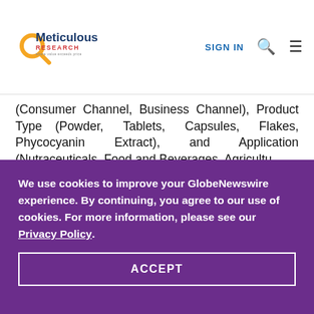Meticulous Research — SIGN IN [search icon] [menu icon]
(Consumer Channel, Business Channel), Product Type (Powder, Tablets, Capsules, Flakes, Phycocyanin Extract), and Application (Nutraceuticals, Food and Beverages, Agriculture...
We use cookies to improve your GlobeNewswire experience. By continuing, you agree to our use of cookies. For more information, please see our Privacy Policy.
ACCEPT